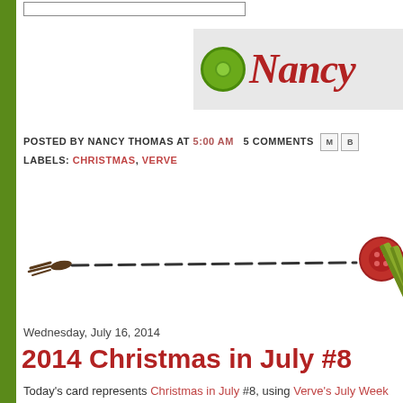[Figure (illustration): Green vertical bar on left side of page, decorative blog sidebar]
[Figure (logo): Nancy blog banner with green circular button icon and red cursive 'Nancy' text on grey background]
POSTED BY NANCY THOMAS AT 5:00 AM   5 COMMENTS
LABELS: CHRISTMAS, VERVE
[Figure (illustration): Decorative horizontal dashed line divider with tassel on left and red button with green striped ribbon on right]
Wednesday, July 16, 2014
2014 Christmas in July #8
Today's card represents Christmas in July #8, using Verve's July Week